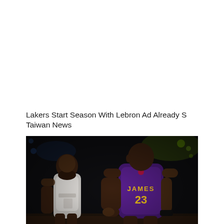Lakers Start Season With Lebron Ad Already S Taiwan News
[Figure (photo): Two NBA basketball players facing each other on a dark arena court. The player in the foreground wears a purple Los Angeles Lakers jersey reading 'JAMES 23'. The player in the background wears a white New Orleans Pelicans jersey.]